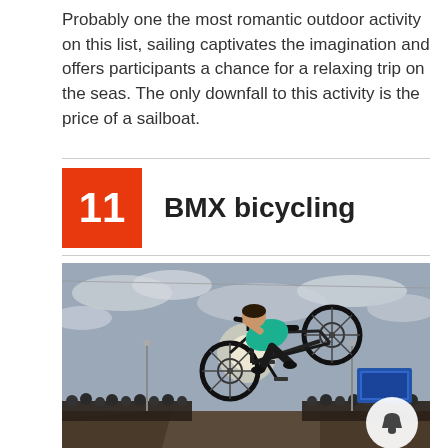Probably one the most romantic outdoor activity on this list, sailing captivates the imagination and offers participants a chance for a relaxing trip on the seas. The only downfall to this activity is the price of a sailboat.
11  BMX bicycling
[Figure (photo): A BMX rider performing an aerial trick at an outdoor skate park event, caught mid-air with the bicycle tilted. The rider wears a teal shirt and dark pants. Crowd and event infrastructure visible in the background under a cloudy sky. A bell/notification icon overlay appears in the bottom-right corner.]